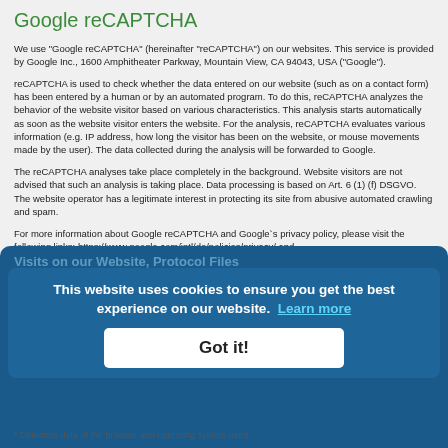Google reCAPTCHA
We use "Google reCAPTCHA" (hereinafter "reCAPTCHA") on our websites. This service is provided by Google Inc., 1600 Amphitheater Parkway, Mountain View, CA 94043, USA ("Google").
reCAPTCHA is used to check whether the data entered on our website (such as on a contact form) has been entered by a human or by an automated program. To do this, reCAPTCHA analyzes the behavior of the website visitor based on various characteristics. This analysis starts automatically as soon as the website visitor enters the website. For the analysis, reCAPTCHA evaluates various information (e.g. IP address, how long the visitor has been on the website, or mouse movements made by the user). The data collected during the analysis will be forwarded to Google.
The reCAPTCHA analyses take place completely in the background. Website visitors are not advised that such an analysis is taking place. Data processing is based on Art. 6 (1) (f) DSGVO. The website operator has a legitimate interest in protecting its site from abusive automated crawling and spam.
For more information about Google reCAPTCHA and Google`s privacy policy, please visit the following links: https://www.google.com/intl/de/policies/privacy/ and https://www.google.com/recaptcha/intro/android.html.
Visits on our Website, Protocol Files
When you visit our pages, the web server of our pages automatically save information in so-called server log files, which your browser automatically transmits to us, for automated detection.
* IP address of the requesting computer
* Date and time of access
* Name and URL of the retrieved data
* Transmitted amount of data
* Message if the retrieval was successful
* Detection data of the browser and operating system used
This website uses cookies to ensure you get the best experience on our website.  Learn more
Got it!